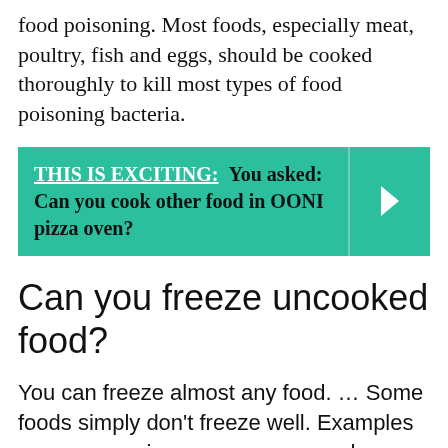food poisoning. Most foods, especially meat, poultry, fish and eggs, should be cooked thoroughly to kill most types of food poisoning bacteria.
[Figure (infographic): Teal banner with bold text: THIS IS EXCITING: You asked: Can you cook other food in OONI pizza oven? with a right-arrow chevron on the right side.]
Can you freeze uncooked food?
You can freeze almost any food. … Some foods simply don't freeze well. Examples are mayonnaise, cream sauce and lettuce. Raw meat and poultry maintain their quality longer than their cooked counterparts because moisture is lost during cooking.